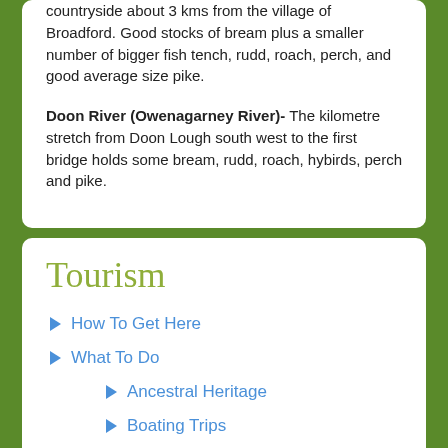countryside about 3 kms from the village of Broadford. Good stocks of bream plus a smaller number of bigger fish tench, rudd, roach, perch, and good average size pike.
Doon River (Owenagarney River)- The kilometre stretch from Doon Lough south west to the first bridge holds some bream, rudd, roach, hybirds, perch and pike.
Tourism
How To Get Here
What To Do
Ancestral Heritage
Boating Trips